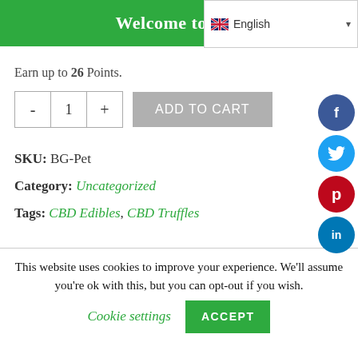Welcome to Bell
Earn up to 26 Points.
ADD TO CART (quantity selector with - 1 + buttons)
SKU: BG-Pet
Category: Uncategorized
Tags: CBD Edibles, CBD Truffles
This website uses cookies to improve your experience. We'll assume you're ok with this, but you can opt-out if you wish.
Cookie settings
ACCEPT